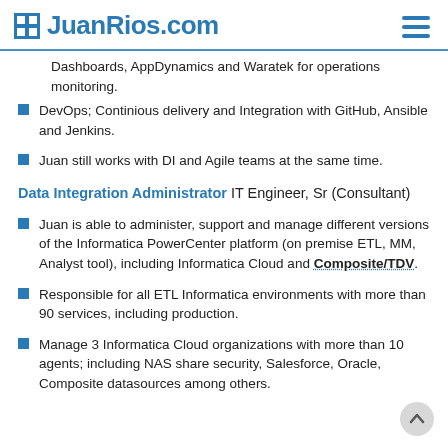JuanRios.com
Dashboards, AppDynamics and Waratek for operations monitoring.
DevOps; Continious delivery and Integration with GitHub, Ansible and Jenkins.
Juan still works with DI and Agile teams at the same time.
Data Integration Administrator IT Engineer, Sr (Consultant)
Juan is able to administer, support and manage different versions of the Informatica PowerCenter platform (on premise ETL, MM, Analyst tool), including Informatica Cloud and Composite/TDV.
Responsible for all ETL Informatica environments with more than 90 services, including production.
Manage 3 Informatica Cloud organizations with more than 10 agents; including NAS share security, Salesforce, Oracle, Composite datasources among others.